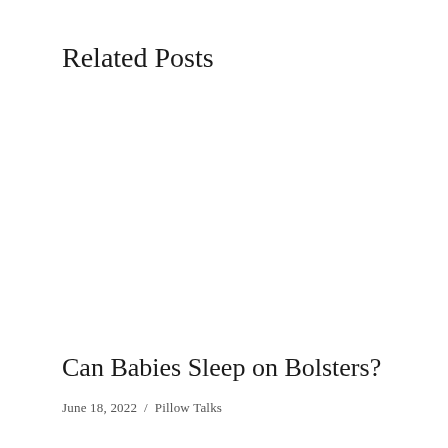Related Posts
Can Babies Sleep on Bolsters?
June 18, 2022  /  Pillow Talks